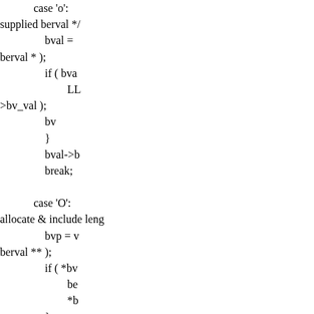case 'o':
supplied berval */
                bval =
berval * );
                if ( bva
                        LL
>bv_val );
                bv
                }
                bval->b
                break;

            case 'O':
allocate & include leng
                bvp = v
berval ** );
                if ( *bv
                        be
                        *b
                }
                break;

            case 'B':
storage as needed */